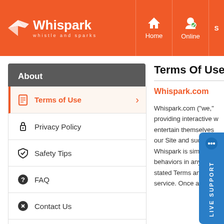Whispark — whistle and sparks | Home | Online | S...
About
Terms of Use
Privacy Policy
Safety Tips
FAQ
Contact Us
About Us
Terms Of Use
Whispark.com
Whispark.com ("we," providing interactive w... entertain themselves ... our Site and such ser... Whispark is simply a soc... behaviors in any jurisdictio... stated Terms and condition... service. Once assessing th...